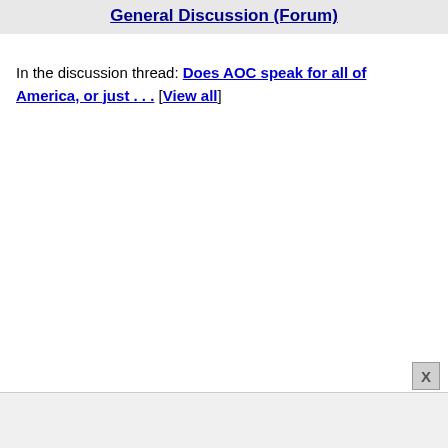General Discussion (Forum)
In the discussion thread: Does AOC speak for all of America, or just . . . [View all]